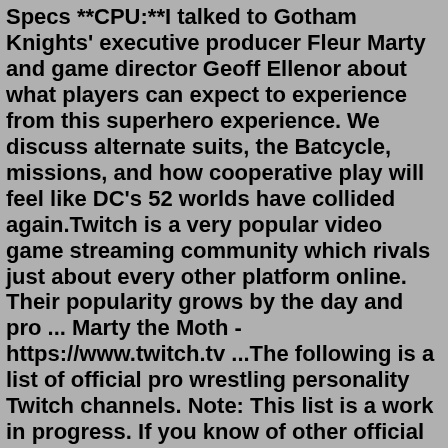Specs **CPU:**I talked to Gotham Knights' executive producer Fleur Marty and game director Geoff Ellenor about what players can expect to experience from this superhero experience. We discuss alternate suits, the Batcycle, missions, and how cooperative play will feel like DC's 52 worlds have collided again.Twitch is a very popular video game streaming community which rivals just about every other platform online. Their popularity grows by the day and pro ... Marty the Moth - https://www.twitch.tv ...The following is a list of official pro wrestling personality Twitch channels. Note: This list is a work in progress. If you know of other official channels, you can update this list by emailing MikeJohnsonPWInsider@gmail.com -.18.7K followers. 173 following. Maty. Macht Dinge auf Twitch | Teil der #OMENSquad by @omenbyhp | Just bee yourself and have fun 🐝. business: maty@ins.gg.DJ MARTY. September 14 at 4:22 AM ·. Jeudi 7 octobre : 2 salles, 2 ambiances. Terrasse en Happy Hour et dans la salle concert à partir de 22h00